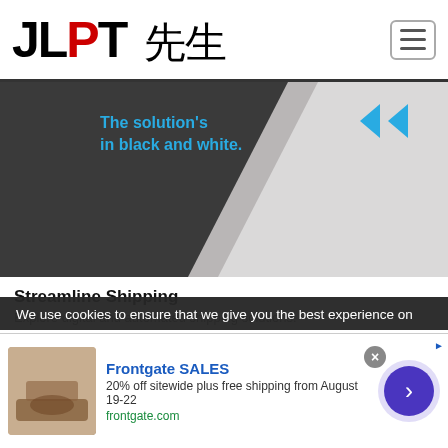JLPT 先生
[Figure (illustration): Dark gray advertisement banner with text 'The solution's in black and white.' in blue, with chevron arrows and diagonal design element]
Streamline Shipping
Explore digital and automated shipping solutions.
LEARN MORE
Become a member for:
unlimited downloads of our e-books, flashcards,
We use cookies to ensure that we give you the best experience on
[Figure (infographic): Frontgate SALES ad: 20% off sitewide plus free shipping from August 19-22, frontgate.com, with outdoor furniture image and navigation arrow]